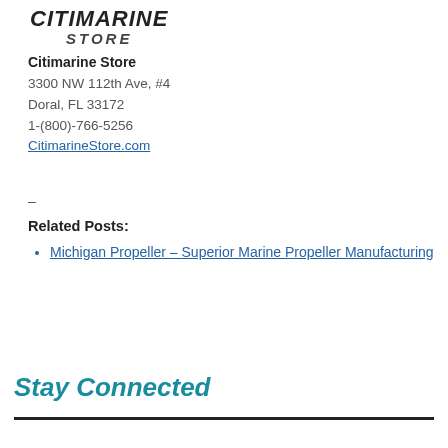[Figure (logo): Citimarine Store logo — italicized text 'CITIMARINE' above 'STORE']
Citimarine Store
3300 NW 112th Ave, #4
Doral, FL 33172
1-(800)-766-5256
CitimarineStore.com
–
Related Posts:
Michigan Propeller – Superior Marine Propeller Manufacturing
Stay Connected